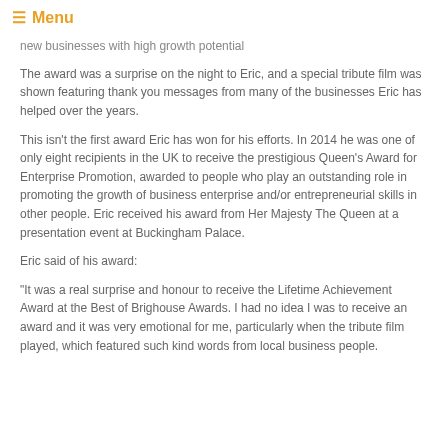☰ Menu
new businesses with high growth potential
The award was a surprise on the night to Eric, and a special tribute film was shown featuring thank you messages from many of the businesses Eric has helped over the years.
This isn't the first award Eric has won for his efforts. In 2014 he was one of only eight recipients in the UK to receive the prestigious Queen's Award for Enterprise Promotion, awarded to people who play an outstanding role in promoting the growth of business enterprise and/or entrepreneurial skills in other people. Eric received his award from Her Majesty The Queen at a presentation event at Buckingham Palace.
Eric said of his award:
"It was a real surprise and honour to receive the Lifetime Achievement Award at the Best of Brighouse Awards. I had no idea I was to receive an award and it was very emotional for me, particularly when the tribute film played, which featured such kind words from local business people.